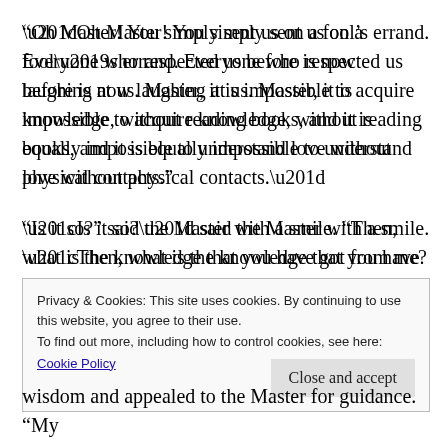“Oh Master! You simply sent us on a fool’s errand. Everyone who respected us before is now laughing at us. Master, it is impossible to acquire knowledge, without reading books, and it is equally impossible to understand love without physical contacts.”
“Is it so?” said the Master with a smile. “Then, what is the knowledge that you have got from me? If real knowledge could be got from libraries and real love could be got from physical contacts, then why have you
Privacy & Cookies: This site uses cookies. By continuing to use this website, you agree to their use.
To find out more, including how to control cookies, see here:
Cookie Policy
Close and accept
wisdom and appealed to the Master for guidance. “My